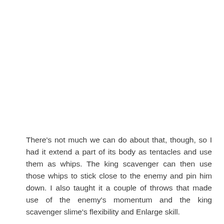There's not much we can do about that, though, so I had it extend a part of its body as tentacles and use them as whips. The king scavenger can then use those whips to stick close to the enemy and pin him down. I also taught it a couple of throws that made use of the enemy's momentum and the king scavenger slime's flexibility and Enlarge skill.